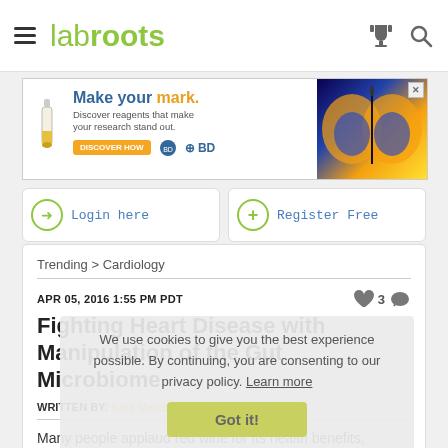labroots
[Figure (screenshot): Advertisement banner for BD reagents: 'Make your mark. Discover reagents that make your research stand out.' with DISCOVER HOW button, BD logo, and butterfly image on blue background.]
Login here
Register Free
Trending > Cardiology
APR 05, 2016 1:55 PM PDT
Fighting Heart Disease with Manipulation of the Gut Microbiome
WRITTEN BY: Kara Marker
Many people applaud red wine for its health benefits, however vague these benefits are often
We use cookies to give you the best experience possible. By continuing, you are consenting to our privacy policy. Learn more
Got it!